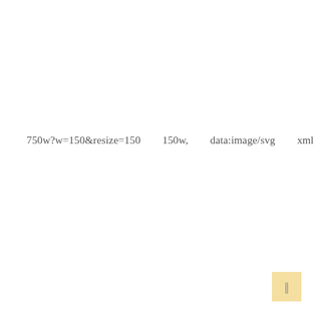750w?w=150&resize=150        150w,        data:image/svg        xml,
[Figure (other): Small yellowish square badge in bottom-right corner with a symbol inside]